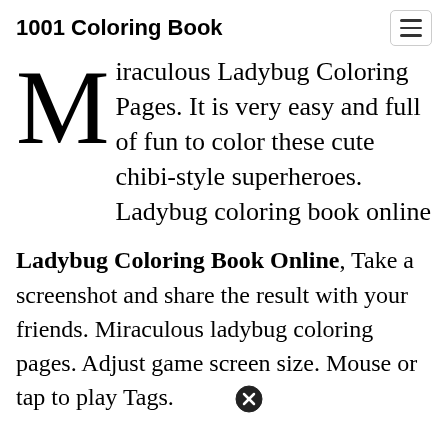1001 Coloring Book
Miraculous Ladybug Coloring Pages. It is very easy and full of fun to color these cute chibi-style superheroes. Ladybug coloring book online
Ladybug Coloring Book Online, Take a screenshot and share the result with your friends. Miraculous ladybug coloring pages. Adjust game screen size. Mouse or tap to play Tags.